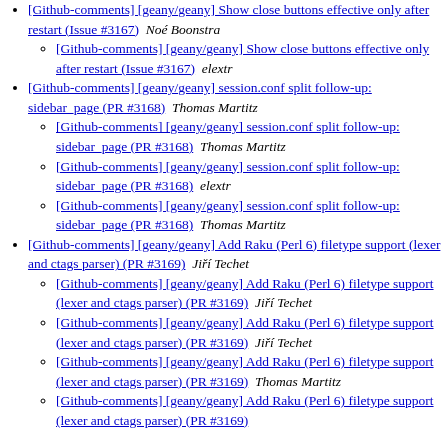[Github-comments] [geany/geany] Show close buttons effective only after restart (Issue #3167)  Noé Boonstra
[Github-comments] [geany/geany] Show close buttons effective only after restart (Issue #3167)  elextr
[Github-comments] [geany/geany] session.conf split follow-up: sidebar_page (PR #3168)  Thomas Martitz
[Github-comments] [geany/geany] session.conf split follow-up: sidebar_page (PR #3168)  Thomas Martitz
[Github-comments] [geany/geany] session.conf split follow-up: sidebar_page (PR #3168)  elextr
[Github-comments] [geany/geany] session.conf split follow-up: sidebar_page (PR #3168)  Thomas Martitz
[Github-comments] [geany/geany] Add Raku (Perl 6) filetype support (lexer and ctags parser) (PR #3169)  Jiří Techet
[Github-comments] [geany/geany] Add Raku (Perl 6) filetype support (lexer and ctags parser) (PR #3169)  Jiří Techet
[Github-comments] [geany/geany] Add Raku (Perl 6) filetype support (lexer and ctags parser) (PR #3169)  Jiří Techet
[Github-comments] [geany/geany] Add Raku (Perl 6) filetype support (lexer and ctags parser) (PR #3169)  Thomas Martitz
[Github-comments] [geany/geany] Add Raku (Perl 6) filetype support (lexer and ctags parser) (PR #3169)